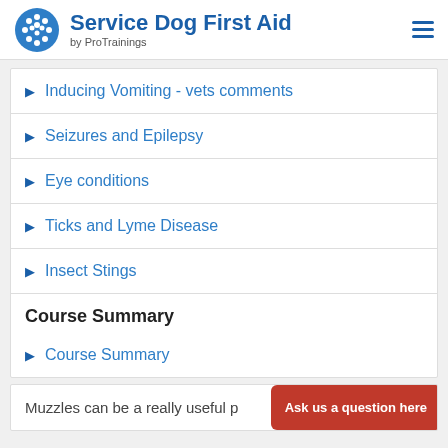Service Dog First Aid by ProTrainings
Inducing Vomiting - vets comments
Seizures and Epilepsy
Eye conditions
Ticks and Lyme Disease
Insect Stings
Course Summary
Course Summary
Muzzles can be a really useful p
Ask us a question here